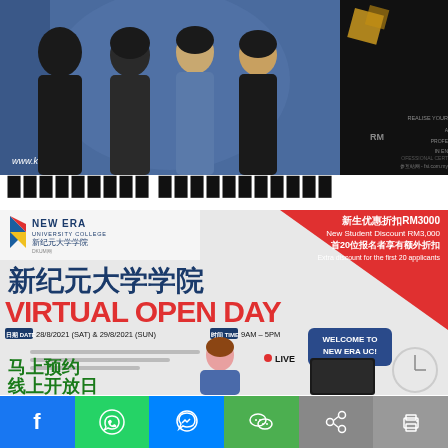[Figure (photo): Group photo of four people standing in front of a blue KDU branded backdrop. The URL www.kdu.edu.my is visible on the backdrop. On the right side there is a dark panel with text related to professional certificate courses and fsi.com.my website.]
▉▉▉▉▉▉▉▉▉ ▉▉▉▉▉▉▉▉▉▉▉
[Figure (infographic): New Era University College Virtual Open Day advertisement. Shows the New Era UC logo, a red diagonal banner with new student discount RM3000 offer (首20位报名者享有额外折扣 / Extra discount for the first 20 applicants), large Chinese title 新纪元大学学院, VIRTUAL OPEN DAY in large red text, Date: 28/8/2021 (SAT) & 29/8/2021 (SUN), Time: 9AM-5PM, Welcome to New Era UC speech bubble, LIVE indicator, illustration of a woman at a computer, clock graphic, and Chinese text 马上预约 线上开放日 at bottom left.]